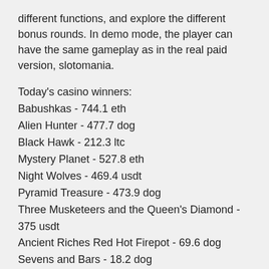different functions, and explore the different bonus rounds. In demo mode, the player can have the same gameplay as in the real paid version, slotomania.
Today's casino winners:
Babushkas - 744.1 eth
Alien Hunter - 477.7 dog
Black Hawk - 212.3 ltc
Mystery Planet - 527.8 eth
Night Wolves - 469.4 usdt
Pyramid Treasure - 473.9 dog
Three Musketeers and the Queen's Diamond - 375 usdt
Ancient Riches Red Hot Firepot - 69.6 dog
Sevens and Bars - 18.2 dog
Crown of Egypt - 406.8 eth
Golden Legend - 711 bch
Land of Gold - 649.6 usdt
Tycoons - 109.1 ltc
Hot Twenty - 41.4 ltc